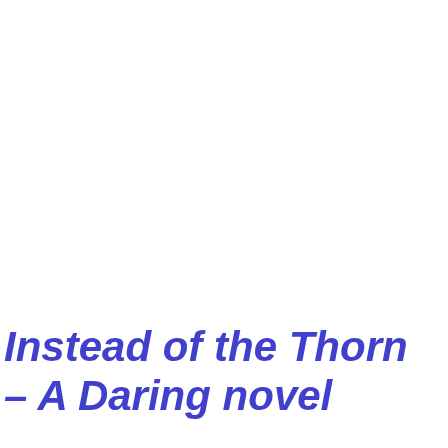Instead of the Thorn – A Daring novel